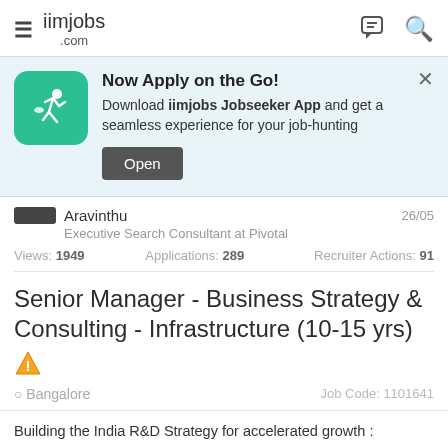iimjobs.com
[Figure (infographic): App download banner: teal icon with running figure, text 'Now Apply on the Go! Download iimjobs Jobseeker App and get a seamless experience for your job-hunting', Open button, X close button]
Aravinthu — Executive Search Consultant at Pivotal — 26/05
Views: 1949   Applications: 289   Recruiter Actions: 91
Senior Manager - Business Strategy & Consulting - Infrastructure (10-15 yrs)
Bangalore   Job Code: 1101641
Building the India R&D Strategy for accelerated growth :
- Define market access strategies and execute the market access